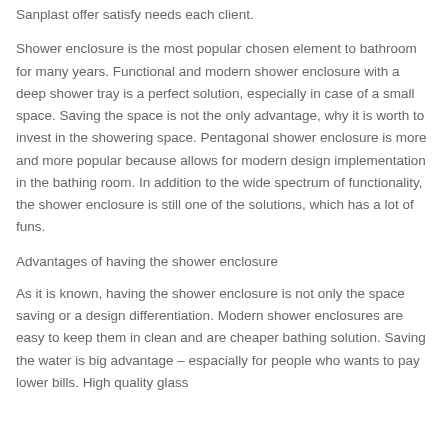Sanplast offer satisfy needs each client.
Shower enclosure is the most popular chosen element to bathroom for many years. Functional and modern shower enclosure with a deep shower tray is a perfect solution, especially in case of a small space. Saving the space is not the only advantage, why it is worth to invest in the showering space. Pentagonal shower enclosure is more and more popular because allows for modern design implementation in the bathing room. In addition to the wide spectrum of functionality, the shower enclosure is still one of the solutions, which has a lot of funs.
Advantages of having the shower enclosure
As it is known, having the shower enclosure is not only the space saving or a design differentiation. Modern shower enclosures are easy to keep them in clean and are cheaper bathing solution. Saving the water is big advantage – espacially for people who wants to pay lower bills. High quality glass...